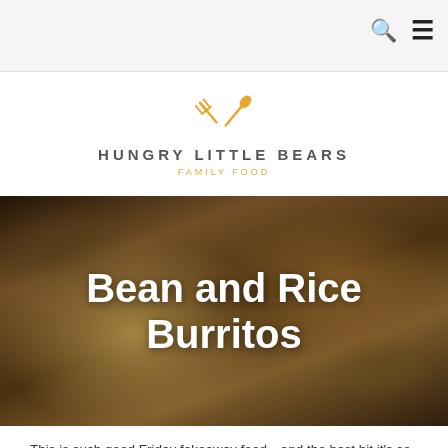Navigation bar with search and menu icons
[Figure (logo): Hungry Little Bears logo with crossed fork and spoon icon in orange/gold, text HUNGRY LITTLE BEARS, subtitle FAMILY FOOD]
[Figure (photo): Close-up photo of bean and rice burritos in a pan, showing beans, rice, melted cheese, peppers inside open tortillas]
Bean and Rice Burritos
This is such good Friday fakeaway food…and the best bit it's so healthy for you and it's vegetarian! That's a win, win in my book as these still feel so filling! I definitely didn't miss the meat with these ones.